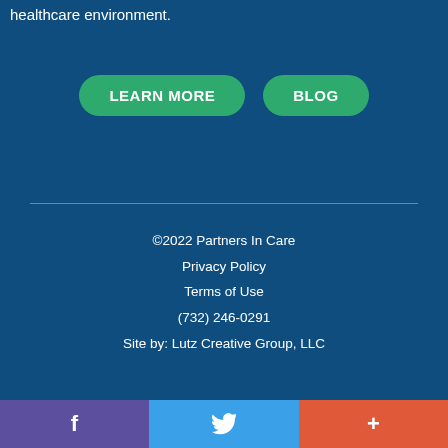healthcare environment.
LEARN MORE
BLOG
©2022 Partners In Care
Privacy Policy
Terms of Use
(732) 246-0291
Site by: Lutz Creative Group, LLC